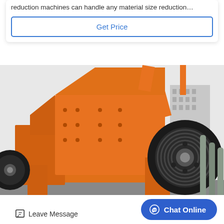reduction machines can handle any material size reduction…
[Figure (other): Blue bordered button with text 'Get Price']
[Figure (photo): Large orange industrial hammer mill / impact crusher machine with black flywheel pulley, bolted steel frame, photographed outdoors]
Leave Message
Chat Online